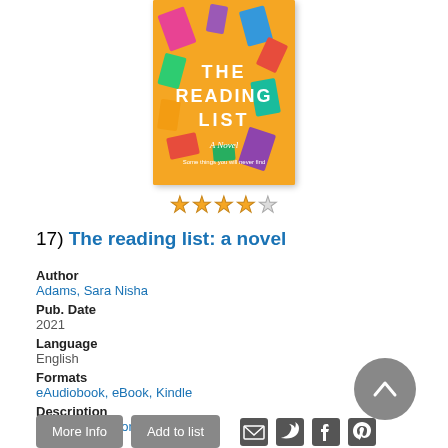[Figure (illustration): Book cover of 'The Reading List: A Novel' — orange/yellow background with colorful illustrated books scattered around, white bold text reading 'THE READING LIST' and subtitle 'A Novel']
[Figure (other): 4 out of 5 star rating displayed as yellow/gold stars with one empty/grey star]
17) The reading list: a novel
Author
Adams, Sara Nisha
Pub. Date
2021
Language
English
Formats
eAudiobook, eBook, Kindle
Description
Read Description